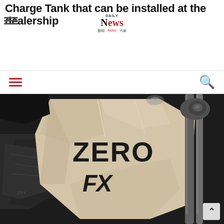Charge Tank that can be installed at the dealership
[Figure (logo): Daily News logo with red 'News' text and navigation links: Autos]
[Figure (photo): Close-up of a Zero FX electric motorcycle showing the beige/cream colored body panel with 'ZERO FX' text in black, dark motorcycle frame, front fork suspension, and dark background]
^